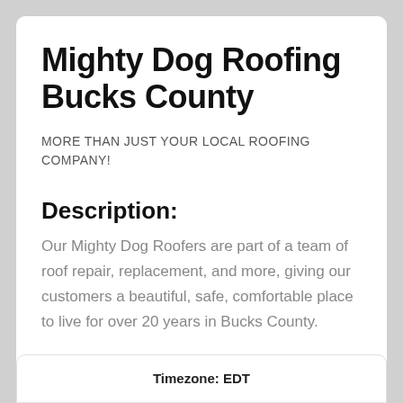Mighty Dog Roofing Bucks County
MORE THAN JUST YOUR LOCAL ROOFING COMPANY!
Description:
Our Mighty Dog Roofers are part of a team of roof repair, replacement, and more, giving our customers a beautiful, safe, comfortable place to live for over 20 years in Bucks County.
Timezone: EDT